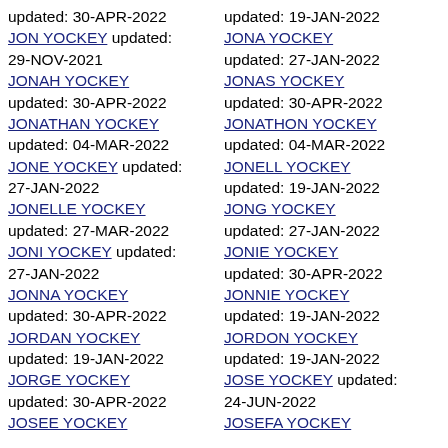updated: 30-APR-2022 JON YOCKEY updated: 29-NOV-2021
JONAH YOCKEY updated: 30-APR-2022
JONATHAN YOCKEY updated: 04-MAR-2022
JONE YOCKEY updated: 27-JAN-2022
JONELLE YOCKEY updated: 27-MAR-2022
JONI YOCKEY updated: 27-JAN-2022
JONNA YOCKEY updated: 30-APR-2022
JORDAN YOCKEY updated: 19-JAN-2022
JORGE YOCKEY updated: 30-APR-2022
JOSEE YOCKEY
updated: 19-JAN-2022 JONA YOCKEY updated: 27-JAN-2022
JONAS YOCKEY updated: 30-APR-2022
JONATHON YOCKEY updated: 04-MAR-2022
JONELL YOCKEY updated: 19-JAN-2022
JONG YOCKEY updated: 27-JAN-2022
JONIE YOCKEY updated: 30-APR-2022
JONNIE YOCKEY updated: 19-JAN-2022
JORDON YOCKEY updated: 19-JAN-2022
JOSE YOCKEY updated: 24-JUN-2022
JOSEFA YOCKEY